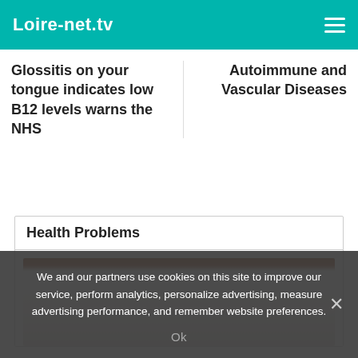Loire-net.tv
Glossitis on your tongue indicates low B12 levels warns the NHS
Autoimmune and Vascular Diseases
Health Problems
[Figure (photo): A bed with a wooden headboard and white bedding/pillow, partially visible.]
We and our partners use cookies on this site to improve our service, perform analytics, personalize advertising, measure advertising performance, and remember website preferences.